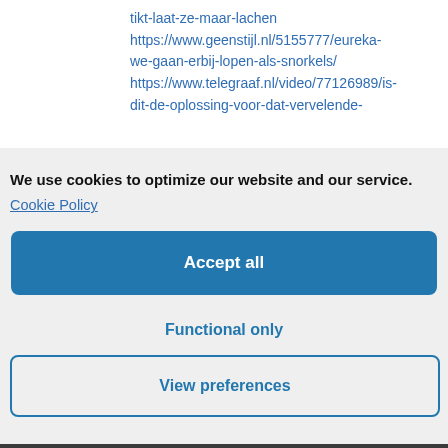tikt-laat-ze-maar-lachen https://www.geenstijl.nl/5155777/eureka-we-gaan-erbij-lopen-als-snorkels/ https://www.telegraaf.nl/video/77126989/is-dit-de-oplossing-voor-dat-vervelende-
We use cookies to optimize our website and our service.
Cookie Policy
Accept all
Functional only
View preferences